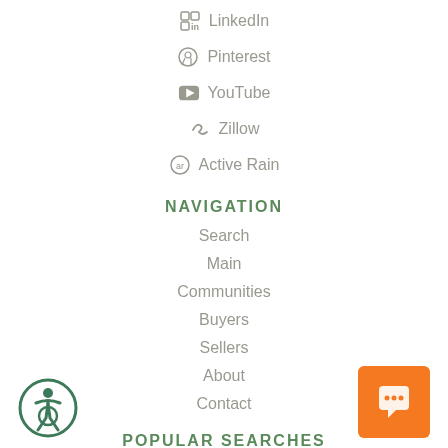LinkedIn
Pinterest
YouTube
Zillow
Active Rain
NAVIGATION
Search
Main
Communities
Buyers
Sellers
About
Contact
POPULAR SEARCHES
Lakefront Homes